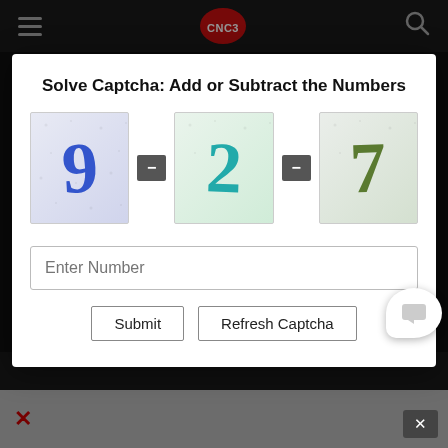[Figure (screenshot): CNC3 website with dark navigation bar showing hamburger menu, CNC3 red circle logo, and search icon]
Solve Captcha: Add or Subtract the Numbers
[Figure (infographic): CAPTCHA showing three images with numbers 9, 2, and 7 separated by minus signs]
Enter Number
Submit
Refresh Captcha
[Figure (logo): Large CNC3 red circle logo on dark background]